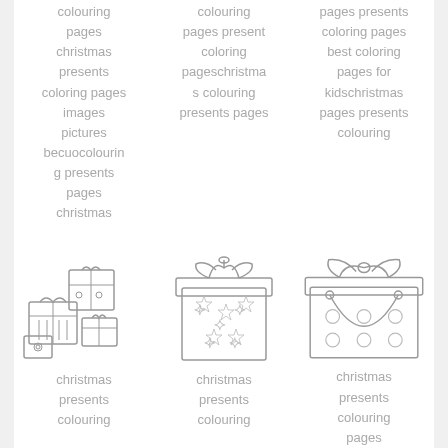colouring pages christmas presents coloring pages images pictures becuocolouring presents pages christmas
colouring pages present coloring pageschristmas colouring presents pages
pages presents coloring pages best coloring pages for kidschristmas pages presents colouring
[Figure (illustration): Stack of Christmas gift boxes, coloring page style, black and white line art]
[Figure (illustration): Single Christmas gift box with bow and stars, coloring page style, black and white line art]
[Figure (illustration): Large Christmas gift box with circular ribbon and dots, coloring page style, black and white line art]
christmas presents colouring
christmas presents colouring
christmas presents colouring pages